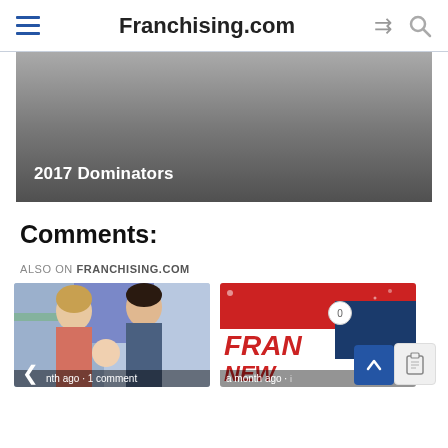Franchising.com
[Figure (photo): Dark gray hero banner image with text overlay reading '2017 Dominators']
Comments:
ALSO ON FRANCHISING.COM
[Figure (photo): Two young women and a child in a classroom setting, card shows 'a month ago · 1 comment']
[Figure (photo): Franchise news magazine cover with red, white and blue design showing 'FRAN' and 'NEW', card shows 'a month ago']